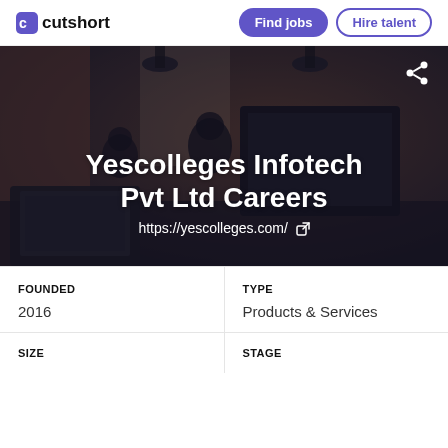cutshort | Find jobs | Hire talent
[Figure (photo): Office workspace with people working at computers, brick walls, hanging industrial lamps, dark overlay. Text overlay: 'Yescolleges Infotech Pvt Ltd Careers' and URL 'https://yescolleges.com/']
Yescolleges Infotech Pvt Ltd Careers
https://yescolleges.com/
FOUNDED
2016
TYPE
Products & Services
SIZE
STAGE